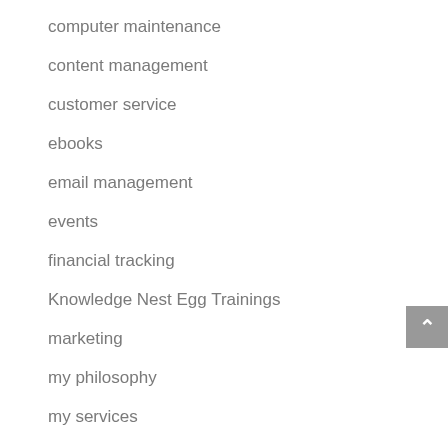computer maintenance
content management
customer service
ebooks
email management
events
financial tracking
Knowledge Nest Egg Trainings
marketing
my philosophy
my services
newsletters
organization